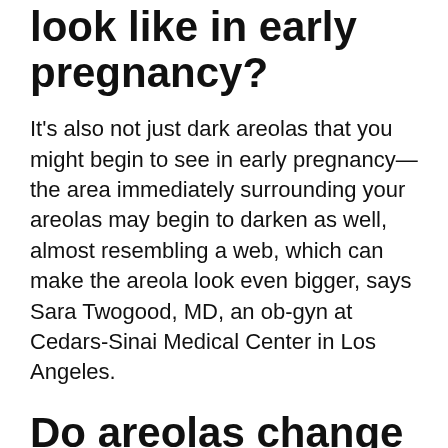look like in early pregnancy?
It's also not just dark areolas that you might begin to see in early pregnancy—the area immediately surrounding your areolas may begin to darken as well, almost resembling a web, which can make the areola look even bigger, says Sara Twogood, MD, an ob-gyn at Cedars-Sinai Medical Center in Los Angeles.
Do areolas change after pregnancy?
These changes are caused by an increase in hormones, and may include the following: Tenderness or a change in sensation of the nipple and breast. An increase in breast size. Changes in the colour and size of nipples and